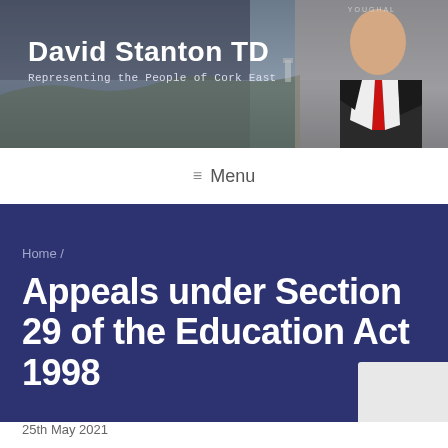[Figure (photo): Website header banner with coastal landscape background showing David Stanton TD. Man in black suit with red tie visible on right side. 'YOUGHAL' label in top right. Text overlaid: 'David Stanton TD' and 'Representing the People of Cork East']
David Stanton TD
Representing the People of Cork East
≡ Menu
Home /
Appeals under Section 29 of the Education Act 1998
25th May 2021